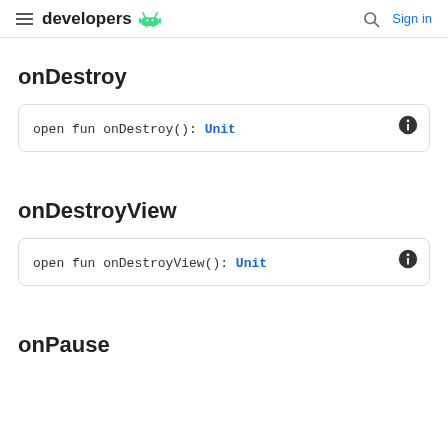developers | Sign in
onDestroy
open fun onDestroy(): Unit
onDestroyView
open fun onDestroyView(): Unit
onPause